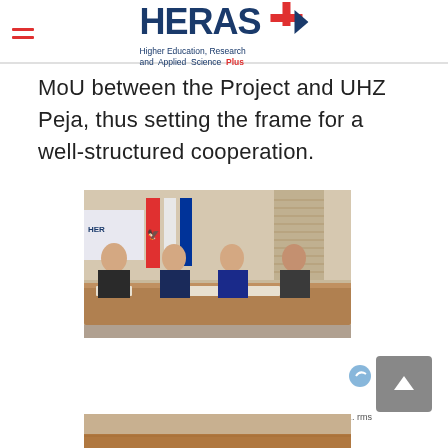HERAS+ — Higher Education, Research and Applied Science Plus
MoU between the Project and UHZ Peja, thus setting the frame for a well-structured cooperation.
[Figure (photo): Four men in suits seated at a conference table with flags of Albania and another country in the background. A HERAS+ banner is visible on the left wall. They appear to be at an official signing or meeting event.]
[Figure (photo): Partial view of a second photo at the bottom of the page, showing a wooden surface or table edge.]